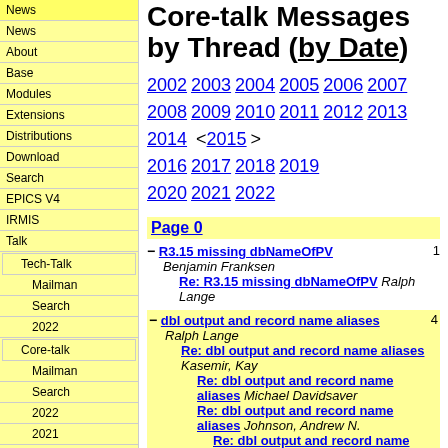News
About
Base
Modules
Extensions
Distributions
Download
Search
EPICS V4
IRMIS
Talk
Tech-Talk
Mailman
Search
2022
Core-talk
Mailman
Search
2022
2021
2020
Core-talk Messages by Thread (by Date)
2002 2003 2004 2005 2006 2007 2008 2009 2010 2011 2012 2013 2014 <2015> 2016 2017 2018 2019 2020 2021 2022
Page 0
- R3.15 missing dbNameOfPV 1
Benjamin Franksen
  Re: R3.15 missing dbNameOfPV Ralph Lange
- dbl output and record name aliases 4
Ralph Lange
  Re: dbl output and record name aliases Kasemir, Kay
    Re: dbl output and record name aliases Michael Davidsaver
      Re: dbl output and record name aliases Johnson, Andrew N.
        Re: dbl output and record name aliases J. Lewis Muir
+ Conversion issues (analog device 2